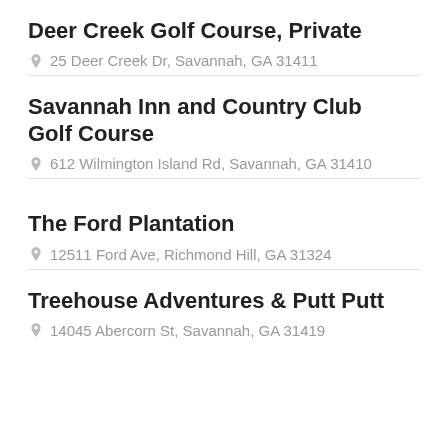Deer Creek Golf Course, Private
25 Deer Creek Dr, Savannah, GA 31411
Savannah Inn and Country Club Golf Course
612 Wilmington Island Rd, Savannah, GA 31410
The Ford Plantation
12511 Ford Ave, Richmond Hill, GA 31324
Treehouse Adventures & Putt Putt
14045 Abercorn St, Savannah, GA 31419